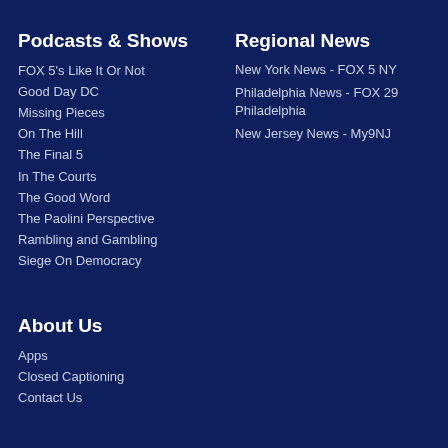Podcasts & Shows
FOX 5's Like It Or Not
Good Day DC
Missing Pieces
On The Hill
The Final 5
In The Courts
The Good Word
The Paolini Perspective
Rambling and Gambling
Siege On Democracy
About Us
Apps
Closed Captioning
Contact Us
Regional News
New York News - FOX 5 NY
Philadelphia News - FOX 29 Philadelphia
New Jersey News - My9NJ